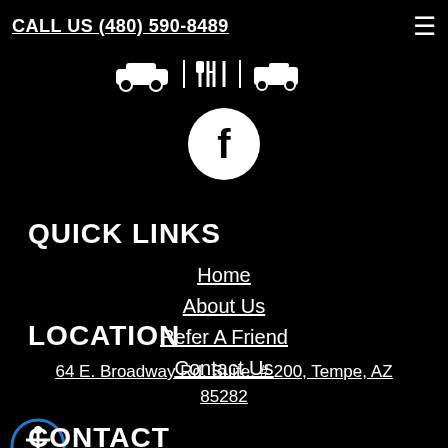CALL US (480) 590-8489
[Figure (illustration): Row of small white icons: car/vehicle, restaurant/grill, and a truck/carryout icon on black background]
[Figure (logo): Facebook logo — white F in a white circle on black background]
QUICK LINKS
Home
About Us
Refer A Friend
Contact Us
LOCATION
64 E. Broadway Rd. Suite. # 200, Tempe, AZ 85282
[Figure (illustration): Accessibility/wheelchair icon — person in circle with blue border on black background]
CONTACT